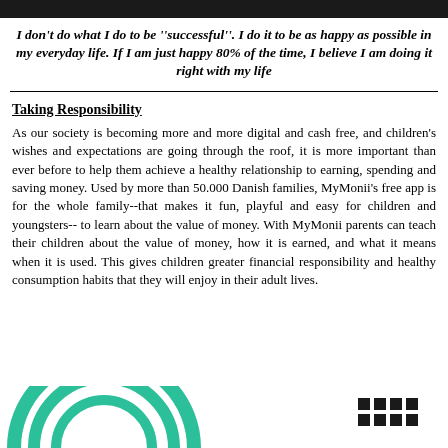I don't do what I do to be "successful". I do it to be as happy as possible in my everyday life. If I am just happy 80% of the time, I believe I am doing it right with my life
Taking Responsibility
As our society is becoming more and more digital and cash free, and children's wishes and expectations are going through the roof, it is more important than ever before to help them achieve a healthy relationship to earning, spending and saving money. Used by more than 50.000 Danish families, MyMonii's free app is for the whole family--that makes it fun, playful and easy for children and youngsters-- to learn about the value of money. With MyMonii parents can teach their children about the value of money, how it is earned, and what it means when it is used. This gives children greater financial responsibility and healthy consumption habits that they will enjoy in their adult lives.
[Figure (logo): MyMonii logo - circular arc design in teal/green color at bottom of page]